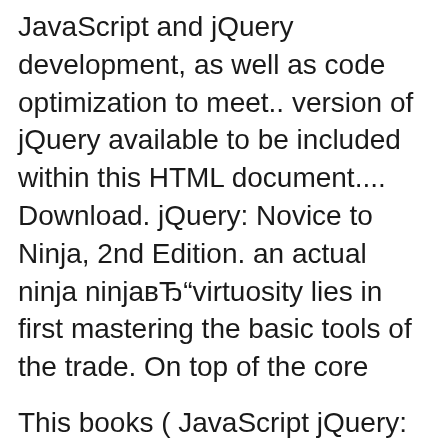JavaScript and jQuery development, as well as code optimization to meet.. version of jQuery available to be included within this HTML document.... Download. jQuery: Novice to Ninja, 2nd Edition. an actual ninja ninjaвЂ"virtuosity lies in first mastering the basic tools of the trade. On top of the core
This books ( JavaScript jQuery: The Missing Manual (Missing Manuals) [PDF] ) Made by David Sawyer McFarland About Books JavaScript & jQuery: The Missing вЂ¦ JQUERY MISSING MANUAL JS File ID: GUIFKHZSJS File Type: PDF File Size: 218.82 Publish Date: 14 Oct, 2015 COPYRIGHT В© 2015, ALL RIGHT